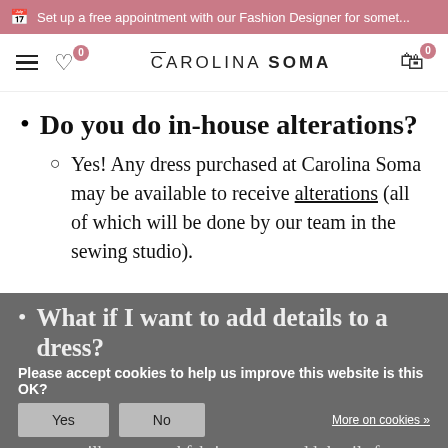Set up a free appointment with our Fashion Designer for somet...
[Figure (screenshot): Carolina Soma website navigation bar with hamburger menu, heart wishlist icon with badge 0, logo 'CAROLINA SOMA', and shopping bag icon with badge 0]
Do you do in-house alterations?
Yes! Any dress purchased at Carolina Soma may be available to receive alterations (all of which will be done by our team in the sewing studio).
What if I want to add details to a dress?
Please accept cookies to help us improve this website is this OK?
no silhouette and fabric, we can add details from hand beading to lace and